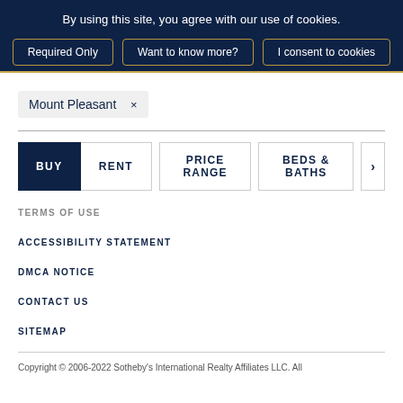By using this site, you agree with our use of cookies.
Required Only
Want to know more?
I consent to cookies
Mount Pleasant ×
BUY  RENT  PRICE RANGE  BEDS & BATHS  ›
TERMS OF USE
ACCESSIBILITY STATEMENT
DMCA NOTICE
CONTACT US
SITEMAP
Copyright © 2006-2022 Sotheby's International Realty Affiliates LLC. All